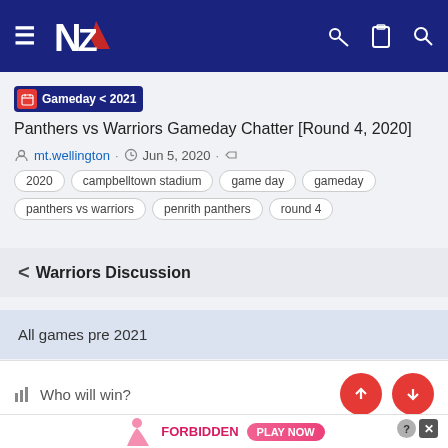NZ Warriors fan site header navigation
Gameday < 2021  Panthers vs Warriors Gameday Chatter [Round 4, 2020]
mt.wellington · Jun 5, 2020 · 2020 · campbelltown stadium · game day · gameday · panthers vs warriors · penrith panthers · round 4
< Warriors Discussion
All games pre 2021
Who will win?
[Figure (other): Advertisement for Forbidden Desire with Play Now button]